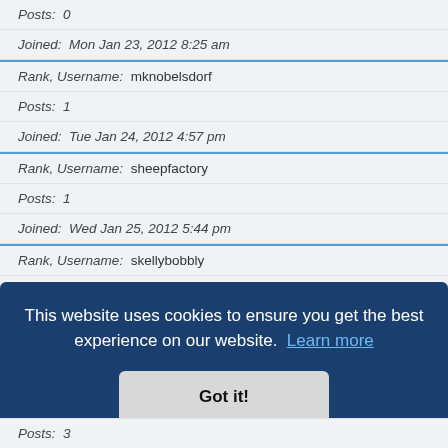Posts: 0
Joined: Mon Jan 23, 2012 8:25 am
Rank, Username: mknobelsdorf
Posts: 1
Joined: Tue Jan 24, 2012 4:57 pm
Rank, Username: sheepfactory
Posts: 1
Joined: Wed Jan 25, 2012 5:44 pm
Rank, Username: skellybobbly
Posts: 2
Joined: Wed Jan 25, 2012 6:00 pm
Rank, Username: characteranim78
This website uses cookies to ensure you get the best experience on our website. Learn more
Got it!
Posts: 3